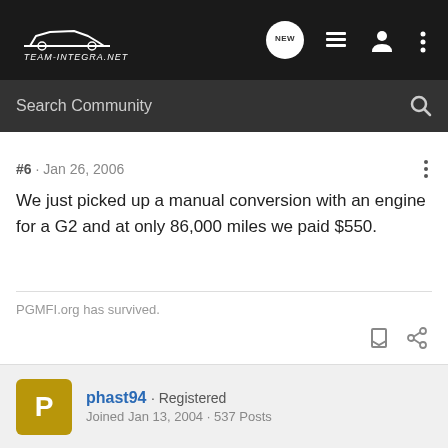Team-Integra.net — NEW
Search Community
#6 · Jan 26, 2006
We just picked up a manual conversion with an engine for a G2 and at only 86,000 miles we paid $550.
PGMFI.org has survived.
phast94 · Registered Joined Jan 13, 2004 · 537 Posts